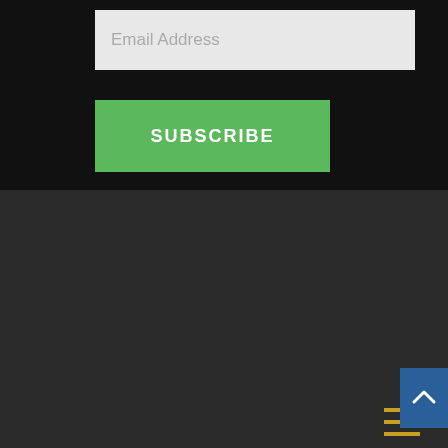Email Address
SUBSCRIBE
[Figure (other): Hamburger menu icon with three horizontal lines in golden/amber color]
*Divi is a registered trademark of Elegant Themes, Inc. This website is not affiliated with nor endorsed by Elegant Themes.
**Some of the links and images on this site are affiliate links for the Divi theme. When you click on one of these links, you get a discount, we get commission, and Elegant Themes makes another sale. It's a win-win for everyone!!!!